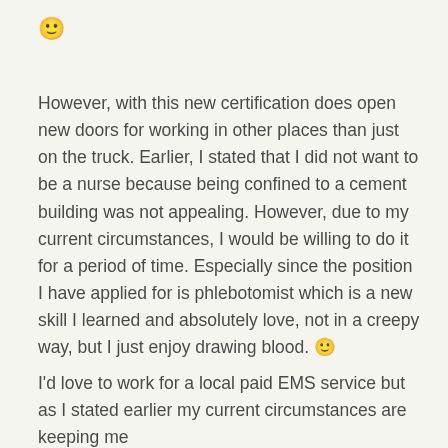[Figure (other): Smiley face emoji 🙂 at top left]
However, with this new certification does open new doors for working in other places than just on the truck. Earlier, I stated that I did not want to be a nurse because being confined to a cement building was not appealing. However, due to my current circumstances, I would be willing to do it for a period of time. Especially since the position I have applied for is phlebotomist which is a new skill I learned and absolutely love, not in a creepy way, but I just enjoy drawing blood. 🙂
I'd love to work for a local paid EMS service but as I stated earlier my current circumstances are keeping me